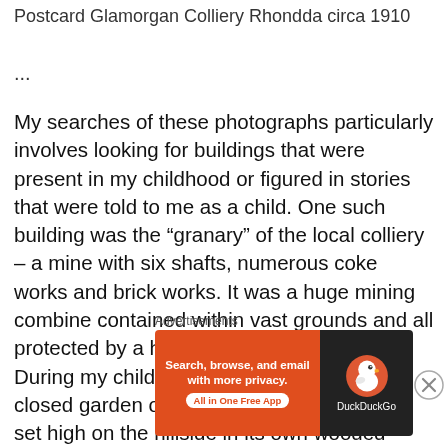Postcard Glamorgan Colliery Rhondda circa 1910
...
My searches of these photographs particularly involves looking for buildings that were present in my childhood or figured in stories that were told to me as a child. One such building was the “granary” of the local colliery – a mine with six shafts, numerous coke works and brick works. It was a huge mining combine contained within vast grounds and all protected by a high surrounding stone wall. During my childhood my parents rented the closed garden of the mine owners mansion set high on the hillside in its own wooded grounds. Each evening my mother and I would walk up the long driveway to the house
Advertisements
[Figure (other): DuckDuckGo advertisement banner: orange left panel with text 'Search, browse, and email with more privacy. All in One Free App' and dark right panel with DuckDuckGo logo and brand name]